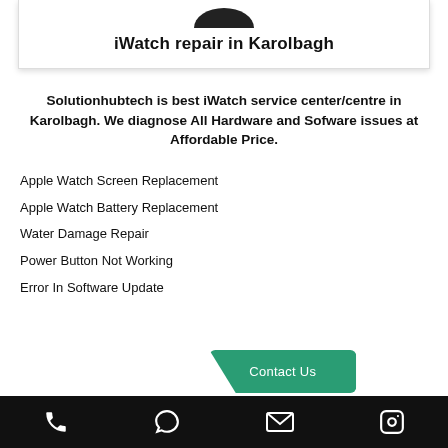iWatch repair in Karolbagh
Solutionhubtech is best iWatch service center/centre in Karolbagh. We diagnose All Hardware and Sofware issues at Affordable Price.
Apple Watch Screen Replacement
Apple Watch Battery Replacement
Water Damage Repair
Power Button Not Working
Error In Software Update